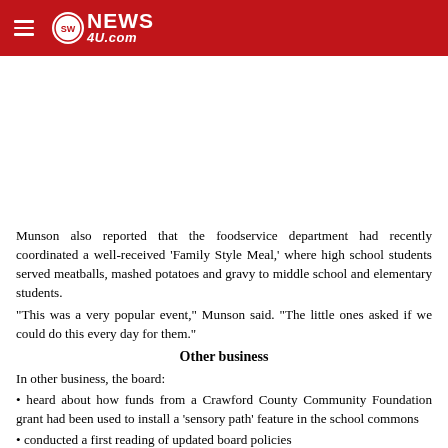SW News 4U - swnews4u.com
[Figure (other): Advertisement space / blank white area]
Munson also reported that the foodservice department had recently coordinated a well-received ‘Family Style Meal,’ where high school students served meatballs, mashed potatoes and gravy to middle school and elementary students.
“This was a very popular event,” Munson said. “The little ones asked if we could do this every day for them.”
Other business
In other business, the board:
• heard about how funds from a Crawford County Community Foundation grant had been used to install a ‘sensory path’ feature in the school commons
• conducted a first reading of updated board policies